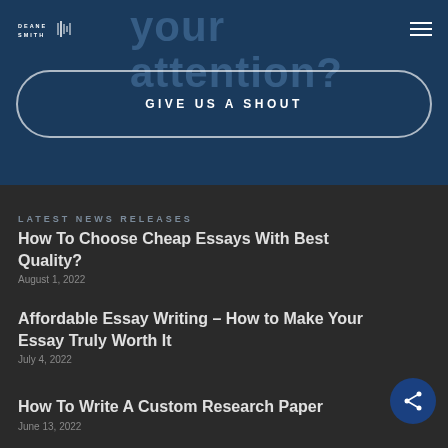your attention?
[Figure (logo): Deane Smith logo with sound wave icon]
GIVE US A SHOUT
LATEST NEWS RELEASES
How To Choose Cheap Essays With Best Quality?
August 1, 2022
Affordable Essay Writing – How to Make Your Essay Truly Worth It
July 4, 2022
How To Write A Custom Research Paper
June 13, 2022